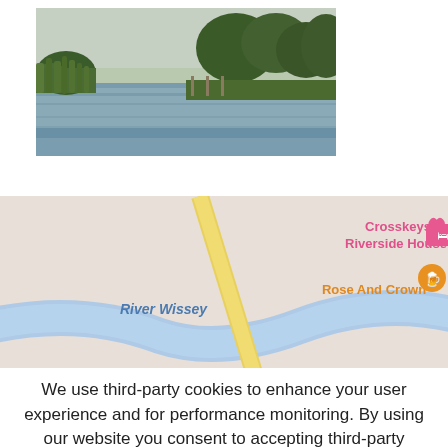[Figure (photo): Photograph of River Wissey with trees and reeds along the bank, calm water surface, overcast sky.]
[Figure (map): Map screenshot showing River Wissey area with road A10, markers for Crosskeys Riverside House (pink heart pin), Rose And Crown (orange pub pin), and a current location pin (pink circle with dot). Location labels visible on map.]
We use third-party cookies to enhance your user experience and for performance monitoring. By using our website you consent to accepting third-party cookies.
OK